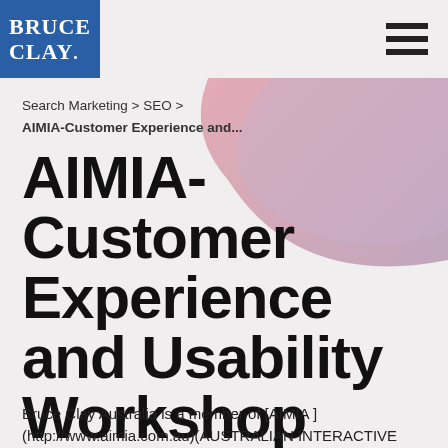Bruce Clay
Search Marketing > SEO >
AIMIA-Customer Experience and...
AIMIA-Customer Experience and Usability Workshop
Bruce Clay Australia is a member of [AIMIA ] (http://www.aimia.com.au)(AUSTRALIAN INTERACTIVE MEDIA INDUSTRY ASSOCIATION)